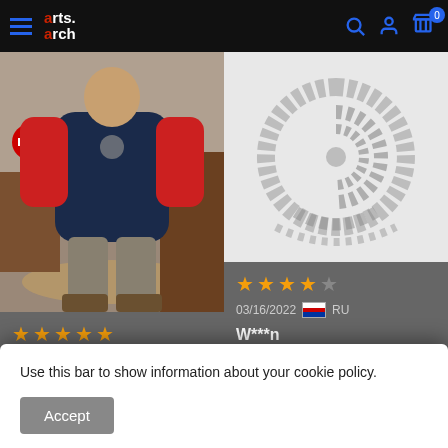arts.arch — navigation header with hamburger menu, search, account, and cart icons
[Figure (photo): Person wearing a navy and red jacket standing in an indoor setting, full body photo]
★★★★★ 05/31/2022 🇷🇺 RU
[Figure (photo): Product image showing circular logo/graphic design on white background]
★★★★☆ 03/16/2022 🇷🇺 RU
W***n
✓ Verified purchase
Отличная толстовка
Use this bar to show information about your cookie policy.
Accept
куртка обрела своего